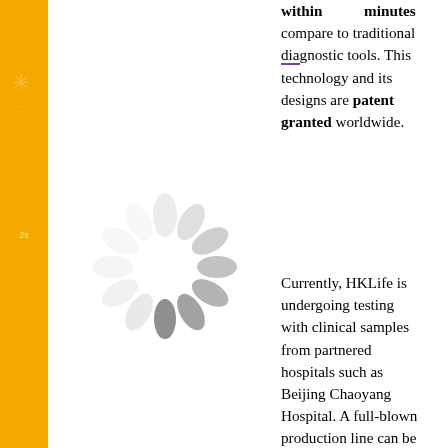[Figure (illustration): Loading spinner / circular motion graphic with blurred oval shapes arranged in a circle, in light gray tones, on white background]
within minutes compare to traditional diagnostic tools. This technology and its designs are patent granted worldwide.
Currently, HKLife is undergoing testing with clinical samples from partnered hospitals such as Beijing Chaoyang Hospital. A full-blown production line can be expected soon in the